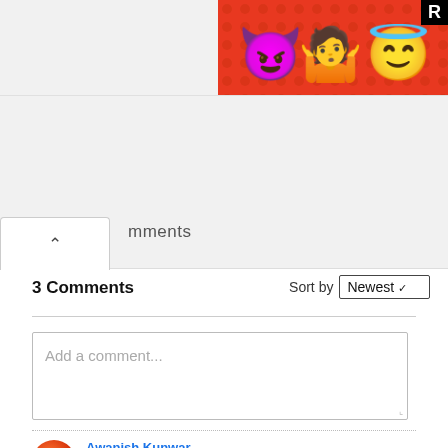[Figure (illustration): Partial view of a colorful banner/advertisement with emoji characters (devil, woman shrugging, angel face) on a red polka-dot background, with a black R-badge in upper right corner]
mments
3 Comments
Sort by Newest
Add a comment...
Awanish Kunwar
try
Like · Reply · Mark as spam · 1y · Edited
Omi Hasan